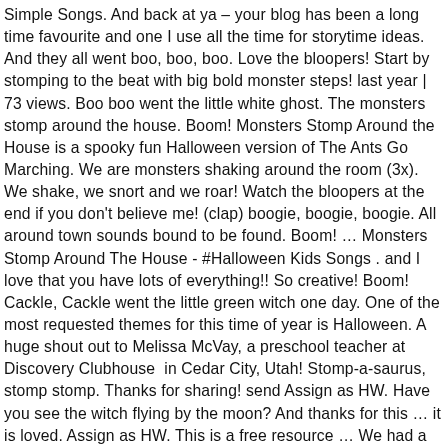Simple Songs. And back at ya – your blog has been a long time favourite and one I use all the time for storytime ideas. And they all went boo, boo, boo. Love the bloopers! Start by stomping to the beat with big bold monster steps! last year | 73 views. Boo boo went the little white ghost. The monsters stomp around the house. Boom! Monsters Stomp Around the House is a spooky fun Halloween version of The Ants Go Marching. We are monsters shaking around the room (3x). We shake, we snort and we roar! Watch the bloopers at the end if you don't believe me! (clap) boogie, boogie, boogie. All around town sounds bound to be found. Boom! … Monsters Stomp Around The House - #Halloween Kids Songs . and I love that you have lots of everything!! So creative! Boom! Cackle, Cackle went the little green witch one day. One of the most requested themes for this time of year is Halloween. A huge shout out to Melissa McVay, a preschool teacher at Discovery Clubhouse  in Cedar City, Utah! Stomp-a-saurus, stomp stomp. Thanks for sharing! send Assign as HW. Have you see the witch flying by the moon? And thanks for this … it is loved. Assign as HW. This is a free resource … We had a …